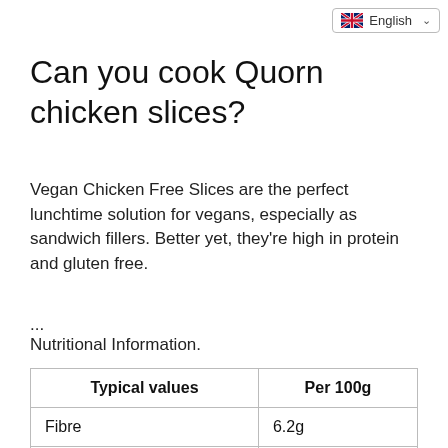English
Can you cook Quorn chicken slices?
Vegan Chicken Free Slices are the perfect lunchtime solution for vegans, especially as sandwich fillers. Better yet, they're high in protein and gluten free.
...
Nutritional Information.
| Typical values | Per 100g |
| --- | --- |
| Fibre | 6.2g |
| Protein | 11.0g |